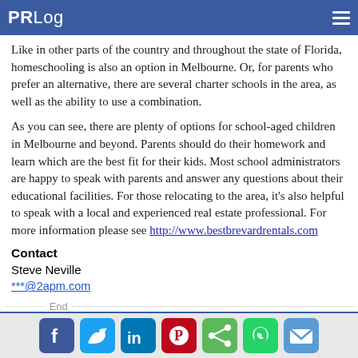PRLog
Like in other parts of the country and throughout the state of Florida, homeschooling is also an option in Melbourne. Or, for parents who prefer an alternative, there are several charter schools in the area, as well as the ability to use a combination.
As you can see, there are plenty of options for school-aged children in Melbourne and beyond. Parents should do their homework and learn which are the best fit for their kids. Most school administrators are happy to speak with parents and answer any questions about their educational facilities. For those relocating to the area, it's also helpful to speak with a local and experienced real estate professional. For more information please see http://www.bestbrevardrentals.com
Contact
Steve Neville
***@2apm.com
End
[Figure (other): Social sharing icons row: Facebook, Twitter, LinkedIn, Pinterest, Share, WhatsApp, Email]
Social sharing icons footer: Facebook, Twitter, LinkedIn, Pinterest, Share, WhatsApp, Email